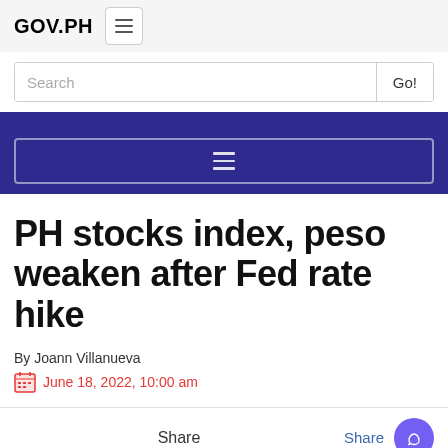GOV.PH
Search Go!
[Figure (screenshot): Blue navigation banner with hamburger menu icon on GOV.PH website]
PH stocks index, peso weaken after Fed rate hike
By Joann Villanueva
June 18, 2022, 10:00 am
Share  Share